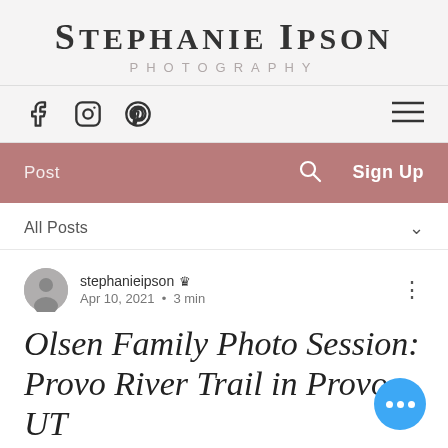STEPHANIE IPSON PHOTOGRAPHY
[Figure (screenshot): Navigation bar with Facebook, Instagram, Pinterest social icons and hamburger menu]
[Figure (screenshot): Pink navigation bar with Post link, search icon, and Sign Up button]
All Posts
stephanieipson Admin Apr 10, 2021 · 3 min
Olsen Family Photo Session: Provo River Trail in Provo, UT